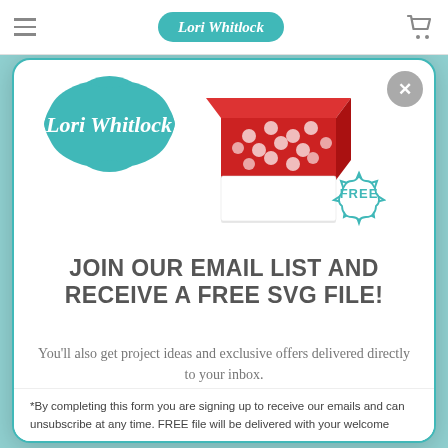Lori Whitlock (navigation bar with logo, hamburger menu, cart icon)
[Figure (logo): Teal ornate badge shape with script text 'Lori Whitlock' in white]
[Figure (photo): Red decorative paper box with cut-out lattice pattern on white base, with teal 'FREE' starburst badge]
JOIN OUR EMAIL LIST AND RECEIVE A FREE SVG FILE!
You'll also get project ideas and exclusive offers delivered directly to your inbox.
Email (input field placeholder)
Subscribe (button)
*By completing this form you are signing up to receive our emails and can unsubscribe at any time. FREE file will be delivered with your welcome